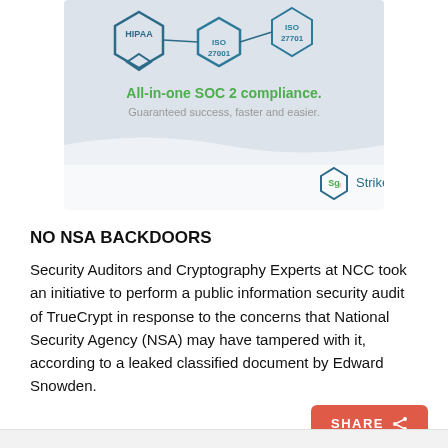[Figure (infographic): Strike Graph advertisement showing hexagonal compliance badges (HIPAA, ISO 27001, ISO 27701) with tagline 'All-in-one SOC 2 compliance. Guaranteed success, faster and easier.' and Strike Graph logo.]
NO NSA BACKDOORS
Security Auditors and Cryptography Experts at NCC took an initiative to perform a public information security audit of TrueCrypt in response to the concerns that National Security Agency (NSA) may have tampered with it, according to a leaked classified document by Edward Snowden.